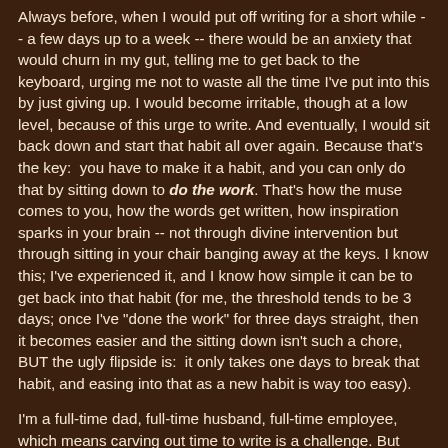Always before, when I would put off writing for a short while -- a few days up to a week -- there would be an anxiety that would churn in my gut, telling me to get back to the keyboard, urging me not to waste all the time I've put into this by just giving up. I would become irritable, though at a low level, because of this urge to write. And eventually, I would sit back down and start that habit all over again. Because that's the key:  you have to make it a habit, and you can only do that by sitting down to do the work. That's how the muse comes to you, how the words get written, how inspiration sparks in your brain -- not through divine intervention but through sitting in your chair banging away at the keys. I know this; I've experienced it, and I know how simple it can be to get back into that habit (for me, the threshold tends to be 3 days; once I've "done the work" for three days straight, then it becomes easier and the sitting down isn't such a chore, BUT the ugly flipside is:  it only takes one days to break that habit, and easing into that as a new habit is way too easy).
I'm a full-time dad, full-time husband, full-time employee, which means carving out time to write is a challenge. But the only way I could do it is to carve out time.